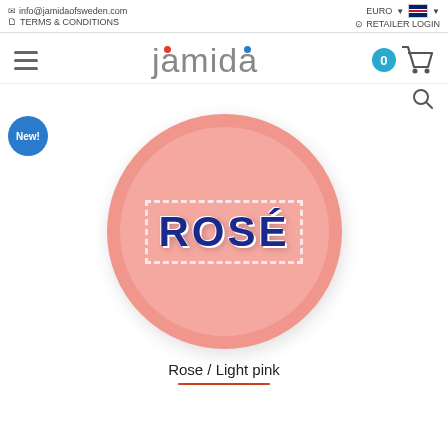info@jamidaofsweden.com | TERMS & CONDITIONS | EURO | RETAILER LOGIN
[Figure (logo): Jamida of Sweden logo with red and blue dots above letters j and i/d, grey text]
Rose / Light pink